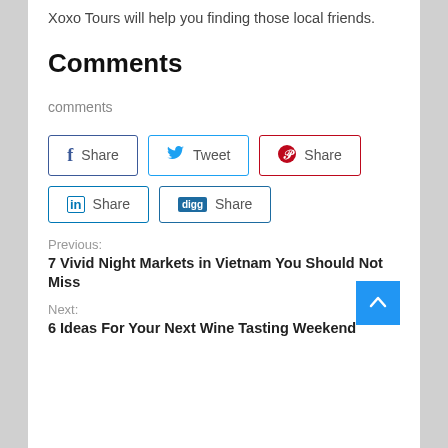Xoxo Tours will help you finding those local friends.
Comments
comments
[Figure (other): Social share buttons: Facebook Share, Twitter Tweet, Pinterest Share, LinkedIn Share, Digg Share]
Previous:
7 Vivid Night Markets in Vietnam You Should Not Miss
Next:
6 Ideas For Your Next Wine Tasting Weekend